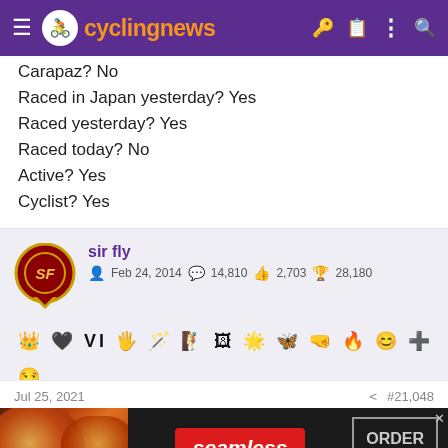cyclingnews
Carapaz? No
Raced in Japan yesterday? Yes
Raced yesterday? Yes
Raced today? No
Active? Yes
Cyclist? Yes
sir fly | Feb 24, 2014 | 14,810 | 2,703 | 28,180
[Figure (other): User badges/icons row for sir fly account]
Jul 25, 2021  #21,048
[Figure (other): Seamless food delivery advertisement banner with pizza image, ORDER NOW button]